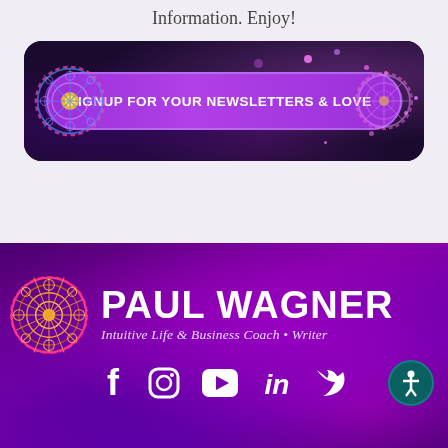Information. Enjoy!
[Figure (illustration): Purple newsletter signup banner button with mandala icons and bokeh galaxy background. Text: SIGNUP FOR YOUR NEWSLETTERS & LOVE]
[Figure (logo): Paul Wagner brand footer with mandala logo, name 'PAUL WAGNER', subtitle 'Intuitive Life & Business Coach • Writer', social media icons (Facebook, Instagram, YouTube, LinkedIn, Twitter), and accessibility button on purple galaxy background.]